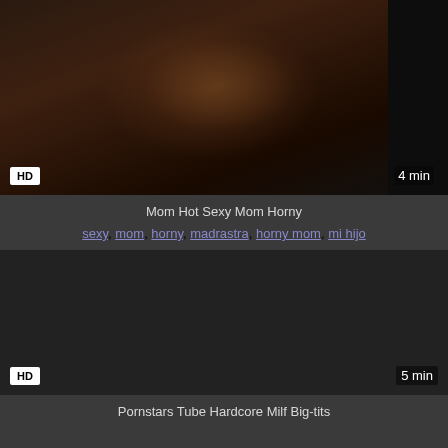[Figure (photo): Video thumbnail showing two people on a bed, dark background, HD badge bottom-left, 4 min badge bottom-right]
Mom Hot Sexy Mom Horny
sexy, mom, horny, madrastra, horny mom, mi hijo
[Figure (photo): Dark video thumbnail, HD badge bottom-left, 5 min badge bottom-right]
Pornstars Tube Hardcore Milf Big-tits